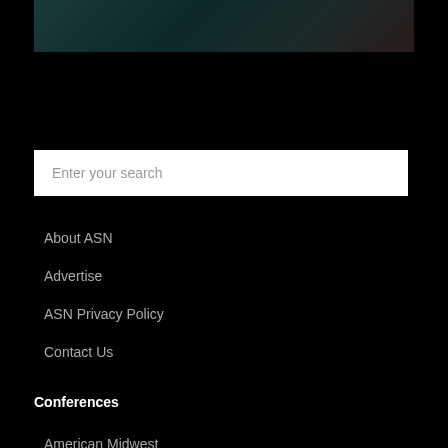[Figure (photo): Dark teal/green gradient image banner at top of page]
Enter your search
About ASN
Advertise
ASN Privacy Policy
Contact Us
Conferences
American Midwest
American Southwest